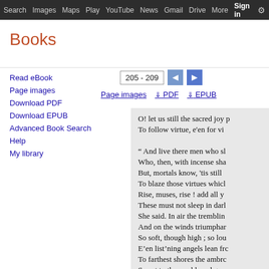Search  Images  Maps  Play  YouTube  News  Gmail  Drive  More  Sign in
Books
205 - 209  Page images  PDF  EPUB
Read eBook
Page images
Download PDF
Download EPUB
Advanced Book Search
Help
My library
[Figure (illustration): Book thumbnail image]
0 Reviews  Write review
Lessons in Elocution: Or, a Selection of Pieces in Prose and Verse for the ...
O! let us still the sacred joy p
To follow virtue, e'en for vi
“ And live there men who sl
Who, then, with incense sha
But, mortals know, 'tis still 
To blaze those virtues whicl
Rise, muses, rise ! add all y
These must not sleep in darl
She said. In air the tremblin
And on the winds triumphar
So soft, though high ; so lou
E’en list’ning angels lean frc
To farthest shores the ambrc
Sweet to the world, and gra